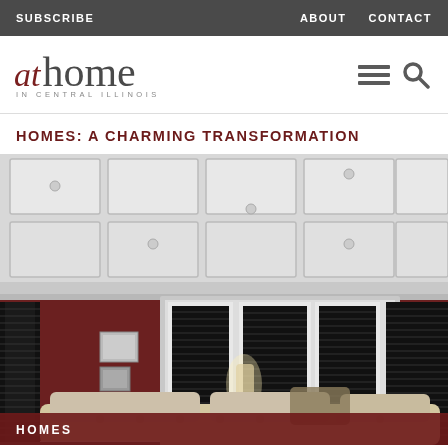SUBSCRIBE | ABOUT | CONTACT
at home IN CENTRAL ILLINOIS
HOMES: A CHARMING TRANSFORMATION
[Figure (photo): Interior living room with coffered white ceiling, dark shuttered bay windows with white trim, dark red/maroon walls, cream sofa in foreground, framed art on wall, and a floor lamp near the windows.]
HOMES